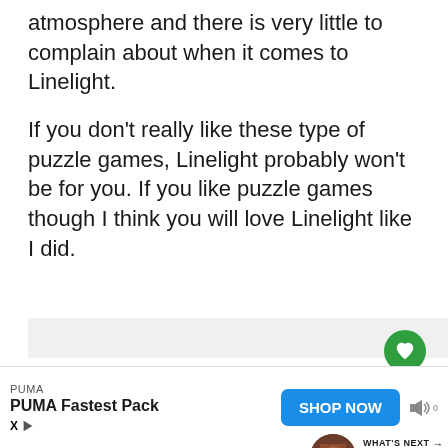atmosphere and there is very little to complain about when it comes to Linelight.
If you don't really like these type of puzzle games, Linelight probably won't be for you. If you like puzzle games though I think you will love Linelight like I did.
[Figure (screenshot): App UI screenshot area with like/heart button (green circle) and share button (white circle with share icon), plus a 'What's Next' navigation card showing a thumbnail and text 'WHAT'S NEXT → September 2022 TV and...']
[Figure (infographic): Advertisement banner for PUMA Fastest Pack with SHOP NOW button in blue, ad icons (X and play button), and sound/mute icon]